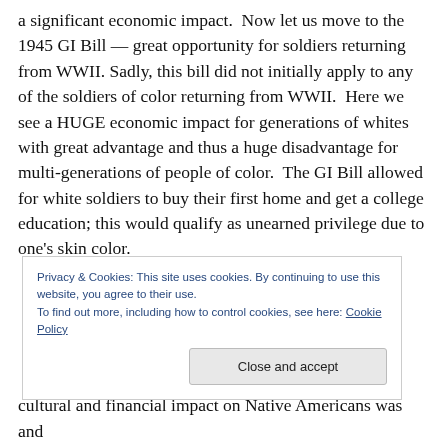a significant economic impact. Now let us move to the 1945 GI Bill — great opportunity for soldiers returning from WWII. Sadly, this bill did not initially apply to any of the soldiers of color returning from WWII. Here we see a HUGE economic impact for generations of whites with great advantage and thus a huge disadvantage for multi-generations of people of color. The GI Bill allowed for white soldiers to buy their first home and get a college education; this would qualify as unearned privilege due to one's skin color.
Privacy & Cookies: This site uses cookies. By continuing to use this website, you agree to their use.
To find out more, including how to control cookies, see here: Cookie Policy
cultural and financial impact on Native Americans was and